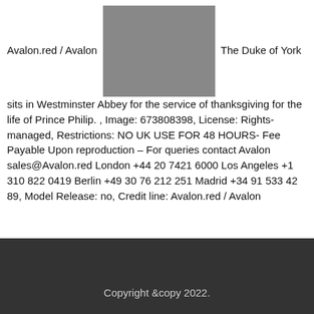Avalon.red / Avalon [photo] The Duke of York sits in Westminster Abbey for the service of thanksgiving for the life of Prince Philip. , Image: 673808398, License: Rights-managed, Restrictions: NO UK USE FOR 48 HOURS- Fee Payable Upon reproduction – For queries contact Avalon sales@Avalon.red London +44 20 7421 6000 Los Angeles +1 310 822 0419 Berlin +49 30 76 212 251 Madrid +34 91 533 42 89, Model Release: no, Credit line: Avalon.red / Avalon
[Figure (photo): Photo of the Duke of York sitting in Westminster Abbey for the service of thanksgiving for the life of Prince Philip, showing men in suits]
Copyright &copy 2022.